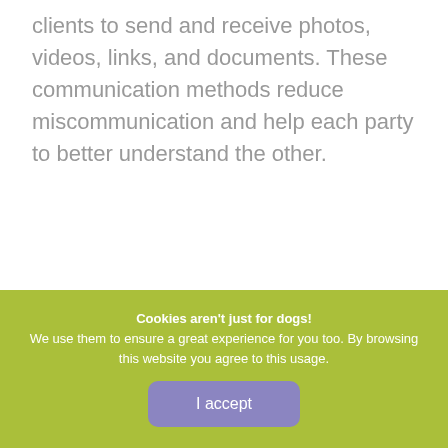clients to send and receive photos, videos, links, and documents. These communication methods reduce miscommunication and help each party to better understand the other.
Cookies aren't just for dogs! We use them to ensure a great experience for you too. By browsing this website you agree to this usage.
I accept